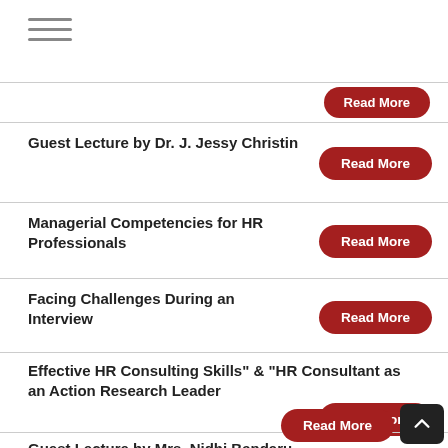Guest Lecture by Dr. J. Jessy Christin
Managerial Competencies for HR Professionals
Facing Challenges During an Interview
Effective HR Consulting Skills" & "HR Consultant as an Action Research Leader
Guest Lecture by Mrs. Nidhi Bandaru